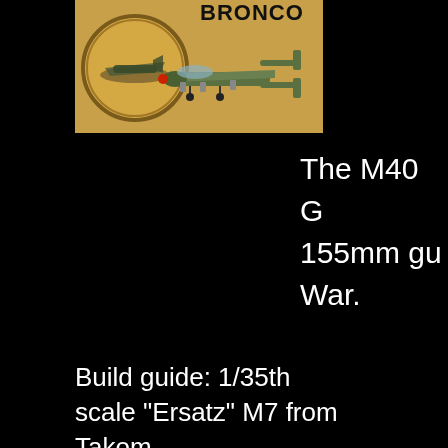[Figure (photo): Box art or decal image of an OV-10 Bronco aircraft model kit, showing the aircraft in olive drab/green color scheme with the word BRONCO visible at the top, circular insignia/patch on the left side of the image]
The M40 G 155mm gu War.
Build guide: 1/35th scale "Ersatz" M7 from Takom